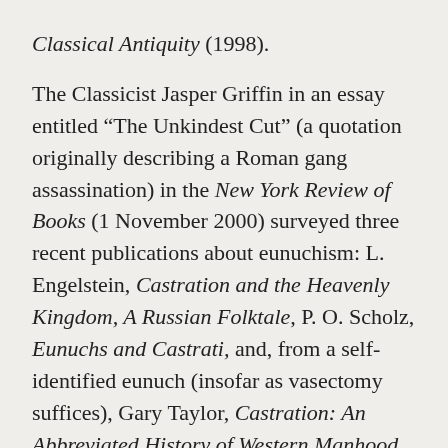Classical Antiquity (1998).
The Classicist Jasper Griffin in an essay entitled “The Unkindest Cut” (a quotation originally describing a Roman gang assassination) in the New York Review of Books (1 November 2000) surveyed three recent publications about eunuchism: L. Engelstein, Castration and the Heavenly Kingdom, A Russian Folktale, P. O. Scholz, Eunuchs and Castrati, and, from a self-identified eunuch (insofar as vasectomy suffices), Gary Taylor, Castration: An Abbreviated History of Western Manhood. One quickly notes that humor and double entendre are nervously and relentlessly injected into considerations of this subject. Sometimes, as in this book’s frequent apotropaic use of the word